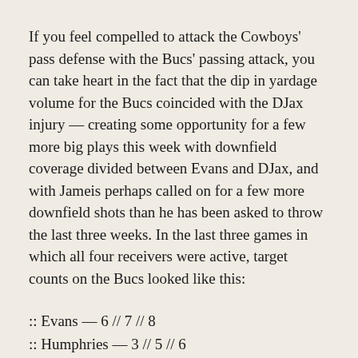If you feel compelled to attack the Cowboys' pass defense with the Bucs' passing attack, you can take heart in the fact that the dip in yardage volume for the Bucs coincided with the DJax injury — creating some opportunity for a few more big plays this week with downfield coverage divided between Evans and DJax, and with Jameis perhaps called on for a few more downfield shots than he has been asked to throw the last three weeks. In the last three games in which all four receivers were active, target counts on the Bucs looked like this:
:: Evans — 6 // 7 // 8
:: Humphries — 3 // 5 // 6
:: Godwin — 7 // 3 // 4
:: DeSean — 8 // 7 // 8